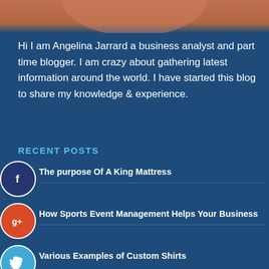[Figure (photo): Cropped photo of a person (Angelina Jarrard) at top of page, only lower face/neck/shoulders visible]
Hi I am Angelina Jarrard a business analyst and part time blogger. I am crazy about gathering latest information around the world. I have started this blog to share my knowledge & experience.
RECENT POSTS
The purpose Of A King Mattress
How Sports Event Management Helps Your Business
Various Examples of Custom Shirts
Aromatherapy And The Skin: A Natural Way To Enhance Your Beauty Routine